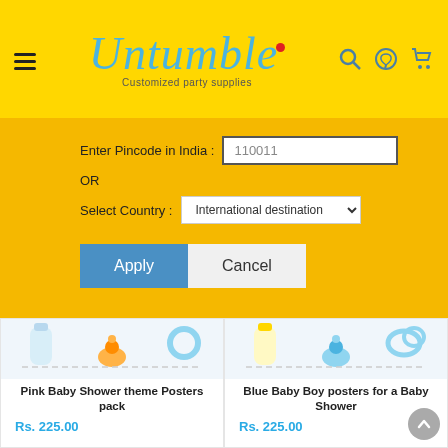[Figure (screenshot): Untumble website header with hamburger menu, logo and icons on yellow background]
[Figure (screenshot): Pincode entry form with Enter Pincode in India field, OR text, Select Country dropdown with International destination, Apply and Cancel buttons on yellow background]
[Figure (screenshot): Pink Baby Shower theme Posters pack product image]
Pink Baby Shower theme Posters pack
Rs. 225.00
[Figure (screenshot): Blue Baby Boy posters for a Baby Shower product image]
Blue Baby Boy posters for a Baby Shower
Rs. 225.00
[Figure (screenshot): Bottom left product card showing pink baby shower themed poster - The Forecast says Pink!]
[Figure (screenshot): Bottom right product card showing Princess themed baby shower poster]